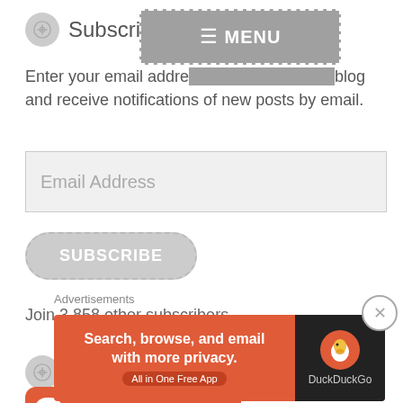Subscribe to m[y blog]
Enter your email address to follow this blog and receive notifications of new posts by email.
Email Address
SUBSCRIBE
Join 3,858 other subscribers
Buy Me A Coffee :)
[Figure (screenshot): Ko-fi donation button with orange background and white text 'Buy Me a Ko-fi']
Advertisements
[Figure (screenshot): DuckDuckGo advertisement banner: 'Search, browse, and email with more privacy. All in One Free App' with DuckDuckGo logo on dark right side]